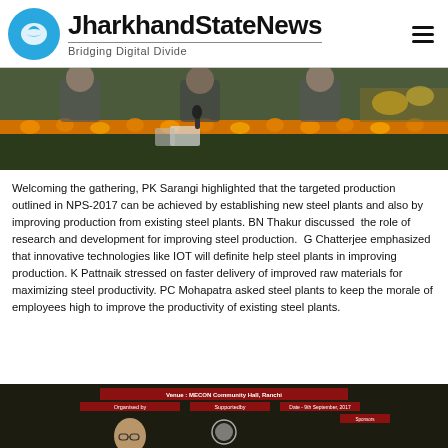JharkhandStateNews — Bridging Digital Divide
[Figure (photo): A conference/meeting scene with people seated at a decorated table adorned with orange marigold garlands, with microphones and papers visible.]
Welcoming the gathering, PK Sarangi highlighted that the targeted production outlined in NPS-2017 can be achieved by establishing new steel plants and also by improving production from existing steel plants. BN Thakur discussed  the role of research and development for improving steel production.  G Chatterjee emphasized that innovative technologies like IOT will definite help steel plants in improving production. K Pattnaik stressed on faster delivery of improved raw materials for maximizing steel productivity. PC Mohapatra asked steel plants to keep the morale of employees high to improve the productivity of existing steel plants.
[Figure (photo): Conference venue banner reading 'MECON Community Hall, Ranchi' with date, organised by section, and a person visible in the foreground.]